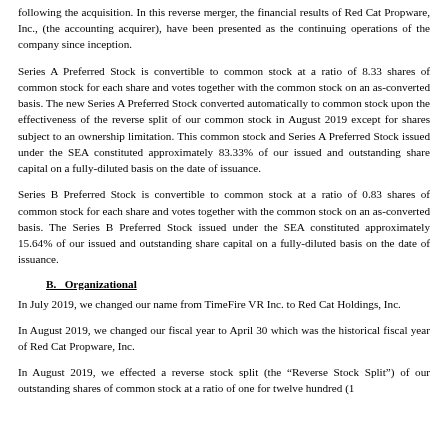following the acquisition. In this reverse merger, the financial results of Red Cat Propware, Inc., (the accounting acquirer), have been presented as the continuing operations of the company since inception.
Series A Preferred Stock is convertible to common stock at a ratio of 8.33 shares of common stock for each share and votes together with the common stock on an as-converted basis. The new Series A Preferred Stock converted automatically to common stock upon the effectiveness of the reverse split of our common stock in August 2019 except for shares subject to an ownership limitation. This common stock and Series A Preferred Stock issued under the SEA constituted approximately 83.33% of our issued and outstanding share capital on a fully-diluted basis on the date of issuance.
Series B Preferred Stock is convertible to common stock at a ratio of 0.83 shares of common stock for each share and votes together with the common stock on an as-converted basis. The Series B Preferred Stock issued under the SEA constituted approximately 15.64% of our issued and outstanding share capital on a fully-diluted basis on the date of issuance.
B. Organizational
In July 2019, we changed our name from TimeFire VR Inc. to Red Cat Holdings, Inc.
In August 2019, we changed our fiscal year to April 30 which was the historical fiscal year of Red Cat Propware, Inc.
In August 2019, we effected a reverse stock split (the “Reverse Stock Split”) of our outstanding shares of common stock at a ratio of one for twelve hundred (1